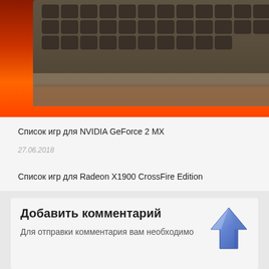[Figure (photo): Close-up photo of a computer keyboard with dark keys on a reddish-orange glowing background]
Список игр для NVIDIA GeForce 2 MX
27.06.2018
Список игр для Radeon X1900 CrossFire Edition
15.07.2018
Добавить комментарий
Для отправки комментария вам необходимо